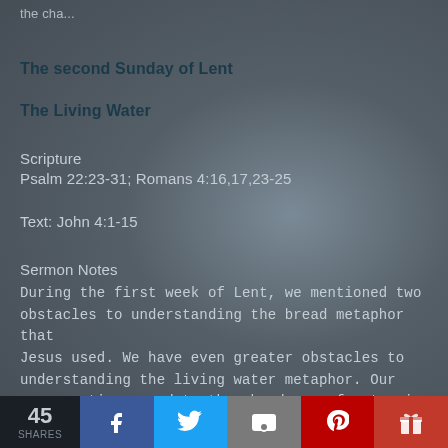the cha...
The second Sunday of Lent
The Living Water
Scripture
Psalm 22:23-31; Romans 4:16,17,23-25
Text: John 4:1-15
Sermon Notes
During the first week of Lent, we mentioned two obstacles to understanding the bread metaphor that Jesus used. We have even greater obstacles to understanding the living water metaphor. Our congregation, used to the abundance of water in th...
45 SHARES | Facebook | Twitter | Email | Pinterest | Gift